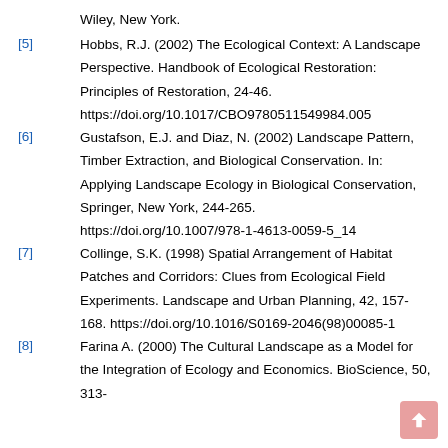Wiley, New York.
[5] Hobbs, R.J. (2002) The Ecological Context: A Landscape Perspective. Handbook of Ecological Restoration: Principles of Restoration, 24-46. https://doi.org/10.1017/CBO9780511549984.005
[6] Gustafson, E.J. and Diaz, N. (2002) Landscape Pattern, Timber Extraction, and Biological Conservation. In: Applying Landscape Ecology in Biological Conservation, Springer, New York, 244-265. https://doi.org/10.1007/978-1-4613-0059-5_14
[7] Collinge, S.K. (1998) Spatial Arrangement of Habitat Patches and Corridors: Clues from Ecological Field Experiments. Landscape and Urban Planning, 42, 157-168. https://doi.org/10.1016/S0169-2046(98)00085-1
[8] Farina A. (2000) The Cultural Landscape as a Model for the Integration of Ecology and Economics. BioScience, 50, 313-